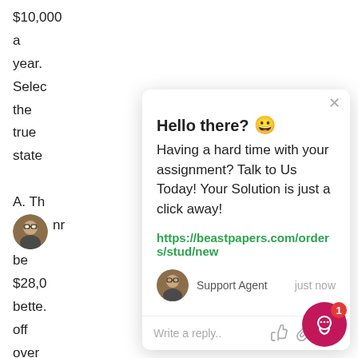$10,000
a
year.
Selec
the
true
state
A. Th
nr
be
$28,0
bette.
off
over
the
5-
[Figure (screenshot): Chat popup overlay from beastpapers.com with greeting 'Hello there? 😀', message about assignment help, link https://beastpapers.com/orders/stud/new, Support Agent avatar and reply bar]
[Figure (other): Pink/magenta circular chat launcher button with notification badge showing '1']